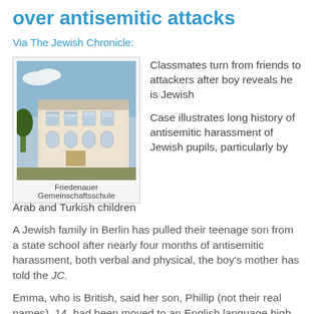over antisemitic attacks
Via The Jewish Chronicle:
[Figure (photo): Photo of Friedenauer Gemeinschaftsschule building exterior]
Friedenauer Gemeinschaftsschule
Classmates turn from friends to attackers after boy reveals he is Jewish
Case illustrates long history of antisemitic harassment of Jewish pupils, particularly by Arab and Turkish children
A Jewish family in Berlin has pulled their teenage son from a state school after nearly four months of antisemitic harassment, both verbal and physical, the boy's mother has told the JC.
Emma, who is British, said her son, Phillip (not their real names), 14, had been moved to an English language high school in Berlin.